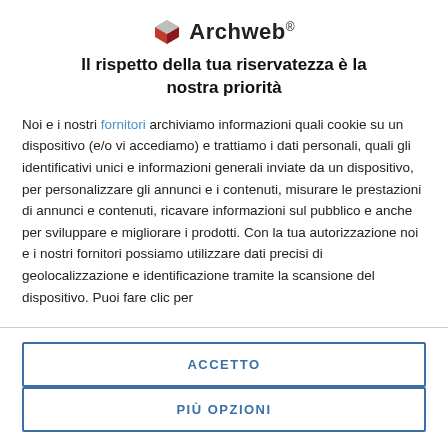[Figure (logo): Archweb logo with red cube icon and bold text 'Archweb®']
Il rispetto della tua riservatezza è la nostra priorità
Noi e i nostri fornitori archiviamo informazioni quali cookie su un dispositivo (e/o vi accediamo) e trattiamo i dati personali, quali gli identificativi unici e informazioni generali inviate da un dispositivo, per personalizzare gli annunci e i contenuti, misurare le prestazioni di annunci e contenuti, ricavare informazioni sul pubblico e anche per sviluppare e migliorare i prodotti. Con la tua autorizzazione noi e i nostri fornitori possiamo utilizzare dati precisi di geolocalizzazione e identificazione tramite la scansione del dispositivo. Puoi fare clic per
ACCETTO
PIÙ OPZIONI